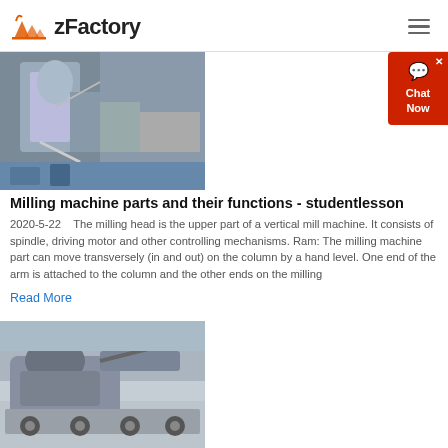zFactory
[Figure (photo): Industrial milling machine equipment in a factory setting]
Milling machine parts and their functions - studentlesson
2020-5-22    The milling head is the upper part of a vertical mill machine. It consists of spindle, driving motor and other controlling mechanisms. Ram: The milling machine part can move transversely (in and out) on the column by a hand level. One end of the arm is attached to the column and the other ends on the milling
Read More
[Figure (photo): Large mobile crushing machine on a truck trailer]
The Mechanism and Kinematics of a Pantograph Milling